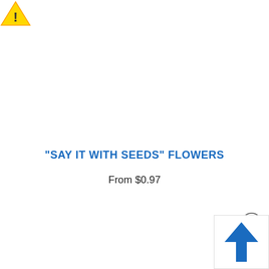[Figure (illustration): Yellow warning triangle icon with exclamation mark, positioned at top-left corner]
"SAY IT WITH SEEDS" FLOWERS
From $0.97
[Figure (other): Circle with plus sign icon, bottom-right area]
[Figure (other): White box with large blue upward-pointing arrow, bottom-right corner]